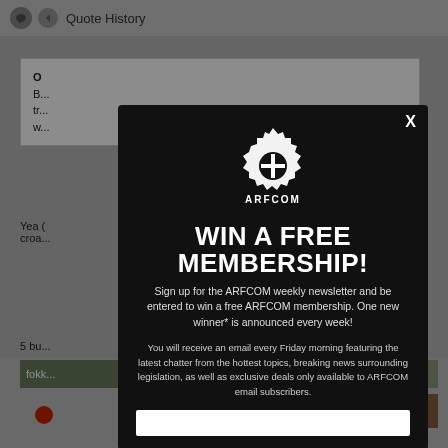Quote History
O... B... tr... w...
Yea ( croa...
5 bu...
fokk...
[Figure (screenshot): ARFCOM modal popup overlay on a forum page. Contains ARFCOM gear logo, headline 'WIN A FREE MEMBERSHIP!', subtext about signing up for newsletter, and body text about Friday email with chatter, news, legislation, and exclusive deals for ARFCOM email subscribers. White input field at bottom. X close button top right.]
WIN A FREE MEMBERSHIP!
Sign up for the ARFCOM weekly newsletter and be entered to win a free ARFCOM membership. One new winner* is announced every week!
You will receive an email every Friday morning featuring the latest chatter from the hottest topics, breaking news surrounding legislation, as well as exclusive deals only available to ARFCOM email subscribers.